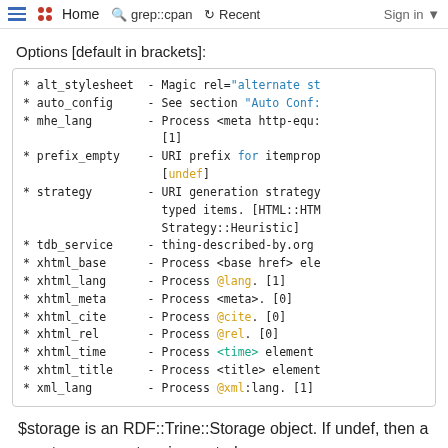≡  •• Home  🔍 grep::cpan  ↺ Recent  Sign in ▾
Options [default in brackets]:
* alt_stylesheet  - Magic rel="alternate st
* auto_config     - See section "Auto Conf:
* mhe_lang        - Process <meta http-equ:
                    [1]
* prefix_empty    - URI prefix for itemprop
                    [undef]
* strategy        - URI generation strategy
                    typed items. [HTML::HTM
                    Strategy::Heuristic]
* tdb_service     - thing-described-by.org
* xhtml_base      - Process <base href> ele
* xhtml_lang      - Process @lang. [1]
* xhtml_meta      - Process <meta>. [0]
* xhtml_cite      - Process @cite. [0]
* xhtml_rel       - Process @rel. [0]
* xhtml_time      - Process <time> element
* xhtml_title     - Process <title> element
* xml_lang        - Process @xml:lang. [1]
$storage is an RDF::Trine::Storage object. If undef, then a new temporary store is created.